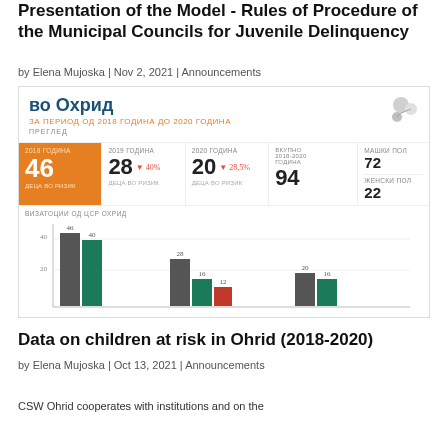Presentation of the Model - Rules of Procedure of the Municipal Councils for Juvenile Delinquency
by Elena Mujoska | Nov 2, 2021 | Announcements
[Figure (infographic): Infographic showing children at risk data for Ohrid (2018-2020). Top section has Macedonian text 'во Охрид' and subtitle 'за период од 2018 година до 2020 година'. Stats row shows: 2018 ГОДИНА: 46 деца во ризик (orange background); 2019 ГОДИНА: 28 ▼40%; 2020 ГОДИНА: 20 ▼28.5%; Вкупно 2018-2020 ГОДИНА: 94; Машки пол: 72; Женски пол: 22. Below is a grouped bar chart labeled 'Визатоции од ЦСР Охрид' with bars for three years showing values 46, 40, 28, 16, 12, 20, 16.]
Data on children at risk in Ohrid (2018-2020)
by Elena Mujoska | Oct 13, 2021 | Announcements
CSW Ohrid cooperates with institutions and on the...